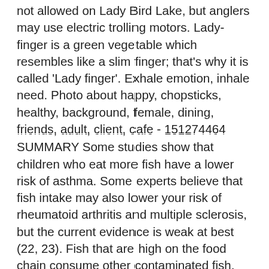not allowed on Lady Bird Lake, but anglers may use electric trolling motors. Lady-finger is a green vegetable which resembles like a slim finger; that's why it is called 'Lady finger'. Exhale emotion, inhale need. Photo about happy, chopsticks, healthy, background, female, dining, friends, adult, client, cafe - 151274464 SUMMARY Some studies show that children who eat more fish have a lower risk of asthma. Some experts believe that fish intake may also lower your risk of rheumatoid arthritis and multiple sclerosis, but the current evidence is weak at best (22, 23). Fish that are high on the food chain consume other contaminated fish, thus compounding their mercury levels, which is why it's best to choose smaller fish, lower on the food chain, to eat. 02/21/18. 1385. https://zelda.gamepedia.com/Fish_Lady?oldid=842619, The Faces of Evil Pages Lacking Name References. Studies show that regular fish consumption is linked to a 24% lower risk of asthma in children, but no significant effect has been found